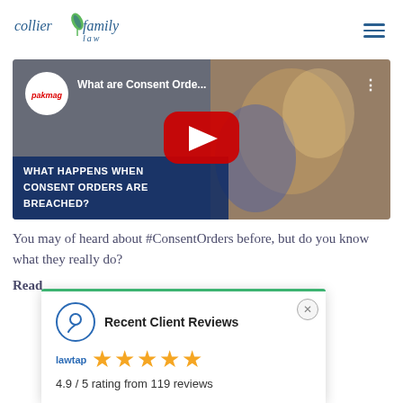[Figure (logo): Collier Family Law logo with leaf icon and text]
[Figure (screenshot): YouTube video thumbnail: pakmag video titled 'What are Consent Orde...' with overlay text 'WHAT HAPPENS WHEN CONSENT ORDERS ARE BREACHED?' and YouTube play button]
You may of heard about #ConsentOrders before, but do you know what they really do?
Read
[Figure (infographic): Lawtap popup widget showing Recent Client Reviews: 4.9 / 5 rating from 119 reviews with 5 gold stars]